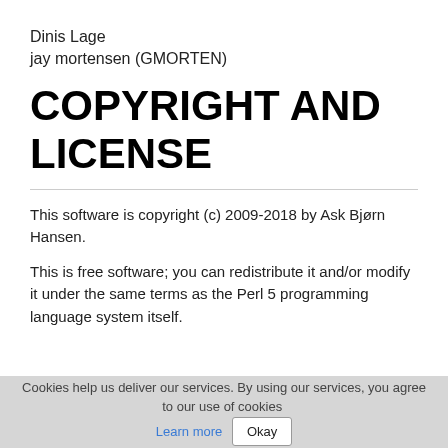Dinis Lage
jay mortensen (GMORTEN)
COPYRIGHT AND LICENSE
This software is copyright (c) 2009-2018 by Ask Bjørn Hansen.
This is free software; you can redistribute it and/or modify it under the same terms as the Perl 5 programming language system itself.
Cookies help us deliver our services. By using our services, you agree to our use of cookies Learn more Okay